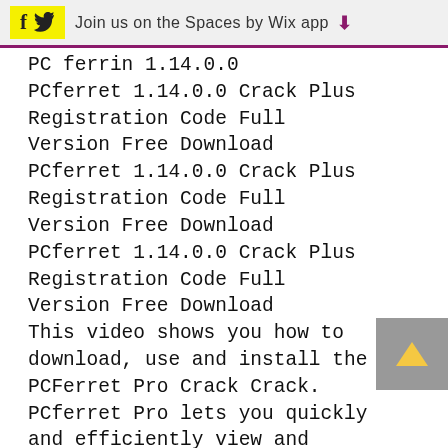Join us on the Spaces by Wix app
PC ferrin 1.14.0.0
PCferret 1.14.0.0 Crack Plus Registration Code Full Version Free Download
PCferret 1.14.0.0 Crack Plus Registration Code Full Version Free Download
PCferret 1.14.0.0 Crack Plus Registration Code Full Version Free Download
This video shows you how to download, use and install the PCFerret Pro Crack Crack.
PCferret Pro lets you quickly and efficiently view and diagnose your PC's hardware components, making it a great